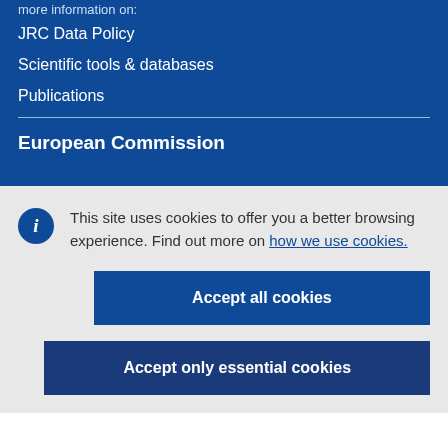more information on:
JRC Data Policy
Scientific tools & databases
Publications
European Commission
This site uses cookies to offer you a better browsing experience. Find out more on how we use cookies.
Accept all cookies
Accept only essential cookies